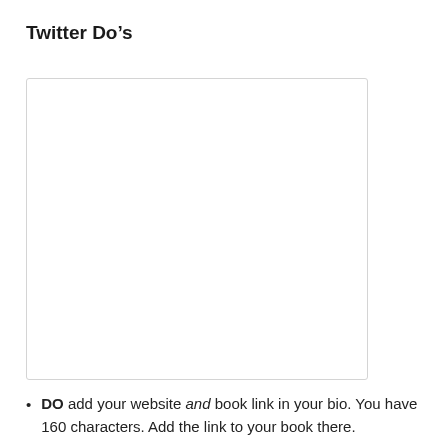Twitter Do’s
[Figure (other): A blank white rectangular placeholder image with a light gray border.]
DO add your website and book link in your bio. You have 160 characters. Add the link to your book there.